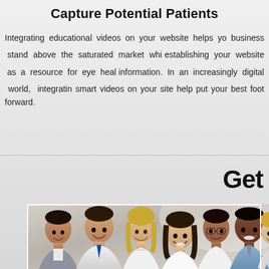Capture Potential Patients
Integrating educational videos on your website helps your business stand above the saturated market while establishing your website as a resource for eye health information. In an increasingly digital world, integrating smart videos on your site help put your best foot forward.
Get
[Figure (photo): Group of smiling diverse business professionals in formal attire, photographed together in a office setting]